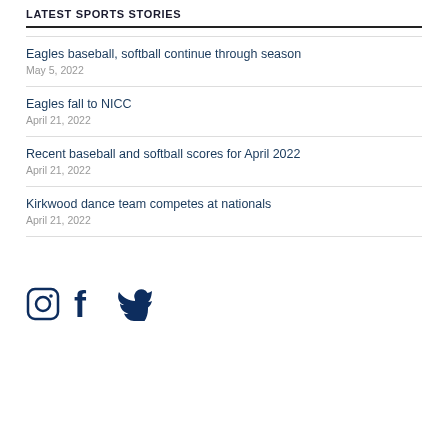LATEST SPORTS STORIES
Eagles baseball, softball continue through season
May 5, 2022
Eagles fall to NICC
April 21, 2022
Recent baseball and softball scores for April 2022
April 21, 2022
Kirkwood dance team competes at nationals
April 21, 2022
[Figure (logo): Social media icons: Instagram, Facebook, Twitter in dark navy color]